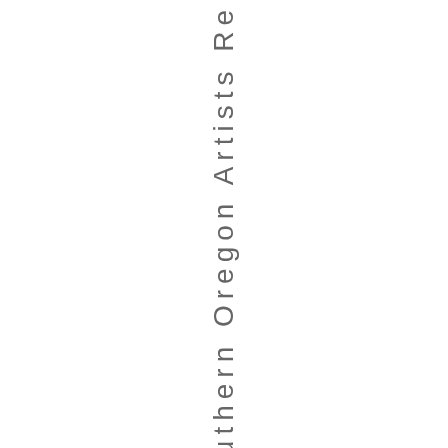iewwal Southern Oregon Artists Re